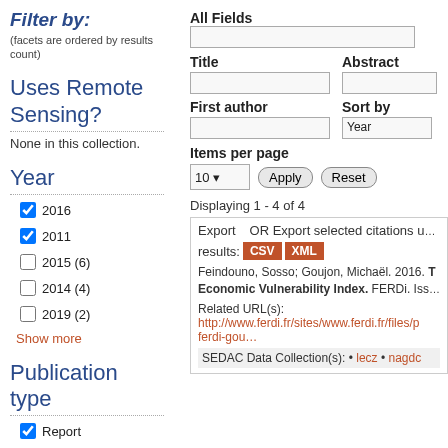Filter by:
(facets are ordered by results count)
Uses Remote Sensing?
None in this collection.
Year
2016 [checked]
2011 [checked]
2015 (6)
2014 (4)
2019 (2)
Show more
Publication type
Report [checked]
Blog [checked]
All Fields
Title
Abstract
First author
Sort by
Year
Items per page
10
Apply
Reset
Displaying 1 - 4 of 4
Export   OR Export selected citations u...
results: CSV XML
Feindouno, Sosso; Goujon, Michaël. 2016. T... Economic Vulnerability Index. FERDi. Iss...
Related URL(s):
http://www.ferdi.fr/sites/www.ferdi.fr/files/p... ferdi-gou…
SEDAC Data Collection(s): • lecz • nagdc